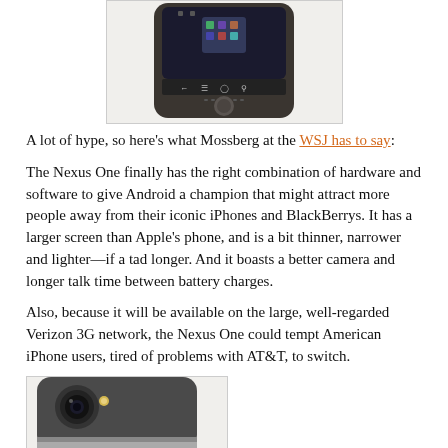[Figure (photo): Partial view of a smartphone (Nexus One) showing the bottom portion of the front face with navigation buttons and home button, on a white/grey background, bordered by a light grey rectangle.]
A lot of hype, so here's what Mossberg at the WSJ has to say:
The Nexus One finally has the right combination of hardware and software to give Android a champion that might attract more people away from their iconic iPhones and BlackBerrys. It has a larger screen than Apple's phone, and is a bit thinner, narrower and lighter—if a tad longer. And it boasts a better camera and longer talk time between battery charges.
Also, because it will be available on the large, well-regarded Verizon 3G network, the Nexus One could tempt American iPhone users, tired of problems with AT&T, to switch.
[Figure (photo): Partial view of the back of a smartphone (Nexus One) showing the camera lens area, with the bottom part of the device visible, bordered by a light grey rectangle.]